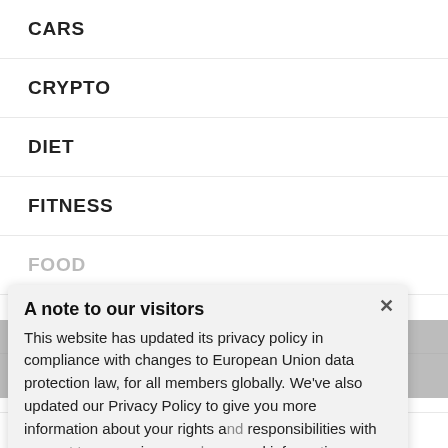CARS
CRYPTO
DIET
FITNESS
FOOD
HEALTH
ONLINE EDUCATION
TECH
TRAVEL
A note to our visitors
This website has updated its privacy policy in compliance with changes to European Union data protection law, for all members globally. We’ve also updated our Privacy Policy to give you more information about your rights and responsibilities with respect to your privacy and personal information. Please read this to review the updates about which cookies we use and what information we collect on our site. By continuing to use this site, you are agreeing to our updated privacy policy.
Amphibious Theme by TemplatePocket · Powered by WordPress